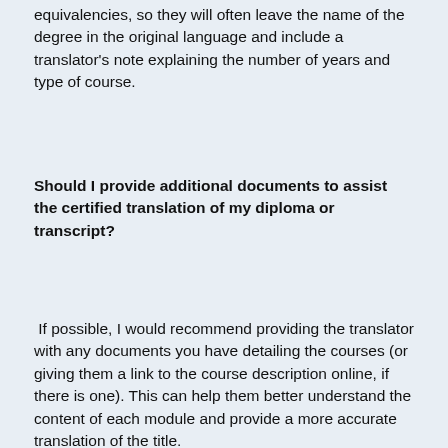equivalencies, so they will often leave the name of the degree in the original language and include a translator's note explaining the number of years and type of course.
Should I provide additional documents to assist the certified translation of my diploma or transcript?
If possible, I would recommend providing the translator with any documents you have detailing the courses (or giving them a link to the course description online, if there is one). This can help them better understand the content of each module and provide a more accurate translation of the title.